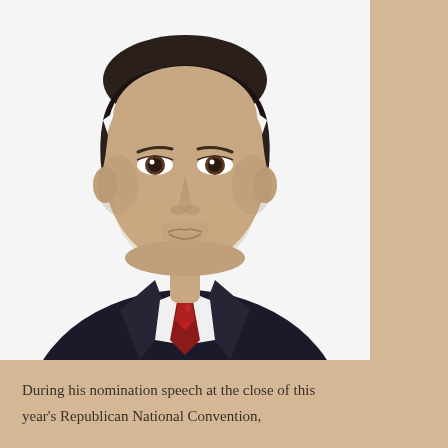[Figure (photo): Professional headshot of a man in a dark suit with a red tie and white dress shirt, dark hair, looking directly at the camera against a white background.]
During his nomination speech at the close of this year's Republican National Convention,